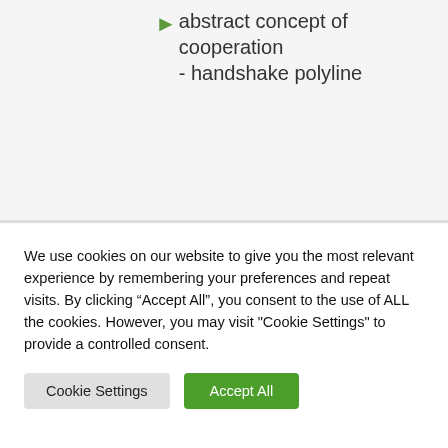abstract concept of cooperation - handshake polyline
We use cookies on our website to give you the most relevant experience by remembering your preferences and repeat visits. By clicking “Accept All”, you consent to the use of ALL the cookies. However, you may visit "Cookie Settings" to provide a controlled consent.
Cookie Settings | Accept All